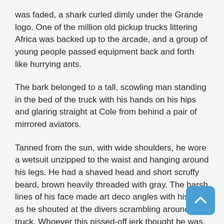was faded, a shark curled dimly under the Grande logo. One of the million old pickup trucks littering Africa was backed up to the arcade, and a group of young people passed equipment back and forth like hurrying ants.
The bark belonged to a tall, scowling man standing in the bed of the truck with his hands on his hips and glaring straight at Cole from behind a pair of mirrored aviators.
Tanned from the sun, with wide shoulders, he wore a wetsuit unzipped to the waist and hanging around his legs. He had a shaved head and short scruffy beard, brown heavily threaded with gray. The harsh lines of his face made art deco angles with his jaw as he shouted at the divers scrambling around the truck. Whoever this pissed-off jerk thought he was, he was staring at Cole.
Taking a slow deep-oven-hot breath, Cole straightened his sunglasses, glancing back over out of the corner of his